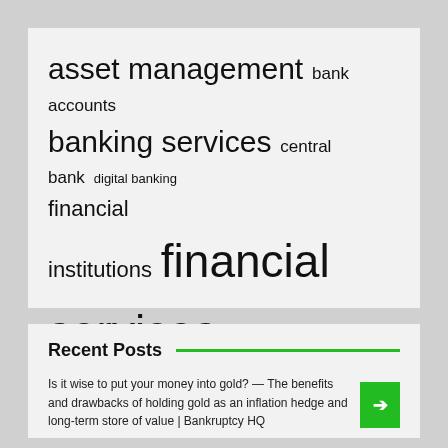[Figure (infographic): Tag cloud with financial keywords in various font sizes: asset management, bank accounts, banking services, central bank, digital banking, financial institutions, financial services, interest rates, long term, middle east, north america, press release, products services, real estate, united states]
Recent Posts
Is it wise to put your money into gold? — The benefits and drawbacks of holding gold as an inflation hedge and long-term store of value | Bankruptcy HQ